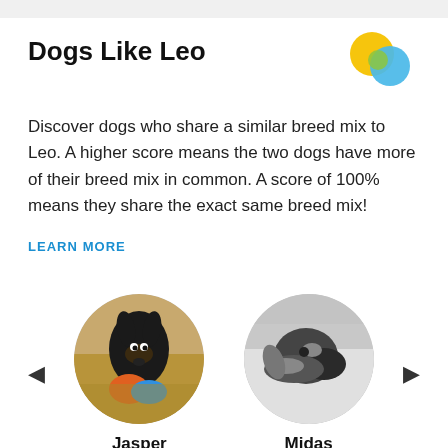Dogs Like Leo
[Figure (logo): Three overlapping circles logo: yellow, green, and blue]
Discover dogs who share a similar breed mix to Leo. A higher score means the two dogs have more of their breed mix in common. A score of 100% means they share the exact same breed mix!
LEARN MORE
[Figure (photo): Circular photo of a dark-colored dog (Jasper) outdoors holding a toy on grass]
[Figure (photo): Circular black and white photo of a dog (Midas) looking sideways]
Jasper
Midas